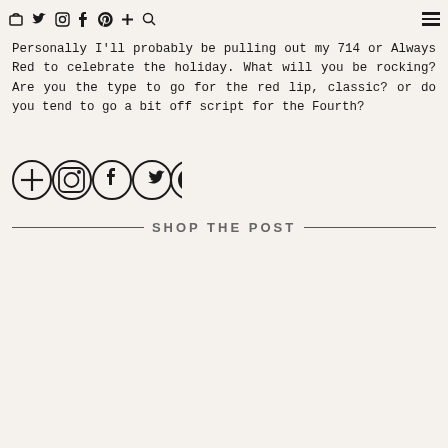navigation icons: bag, twitter, instagram, facebook, pinterest, plus, search, hamburger menu
Personally I'll probably be pulling out my 714 or Always Red to celebrate the holiday. What will you be rocking? Are you the type to go for the red lip, classic? or do you tend to go a bit off script for the Fourth?
[Figure (infographic): Social sharing icons in circles: plus, instagram, facebook, twitter, pinterest]
SHOP THE POST